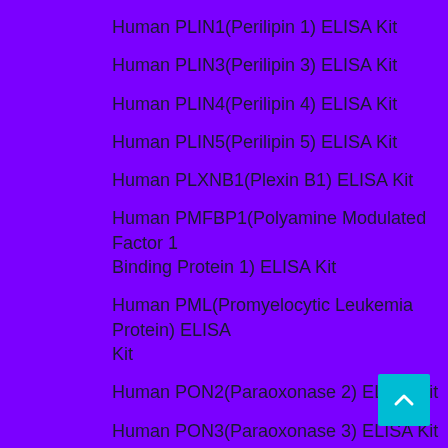Human PLIN1(Perilipin 1) ELISA Kit
Human PLIN3(Perilipin 3) ELISA Kit
Human PLIN4(Perilipin 4) ELISA Kit
Human PLIN5(Perilipin 5) ELISA Kit
Human PLXNB1(Plexin B1) ELISA Kit
Human PMFBP1(Polyamine Modulated Factor 1 Binding Protein 1) ELISA Kit
Human PML(Promyelocytic Leukemia Protein) ELISA Kit
Human PON2(Paraoxonase 2) ELISA Kit
Human PON3(Paraoxonase 3) ELISA Kit
Human PPL(Periplakin) ELISA Kit
Human PR3(Proteinase 3) ELISA Kit
Human PRDX4(Peroxiredoxin 4) ELISA Kit